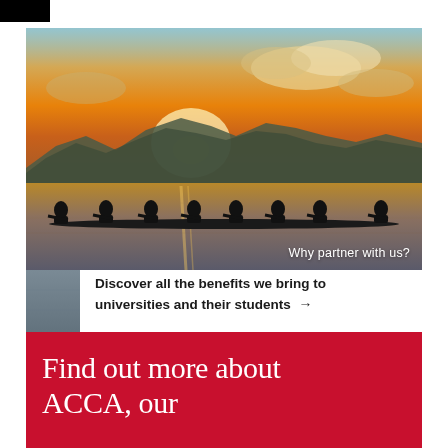[Figure (photo): Silhouettes of eight rowers in a rowing boat on a lake at sunset, with mountains in the background. Text overlay reads 'Why partner with us?']
Discover all the benefits we bring to universities and their students →
Find out more about ACCA, our